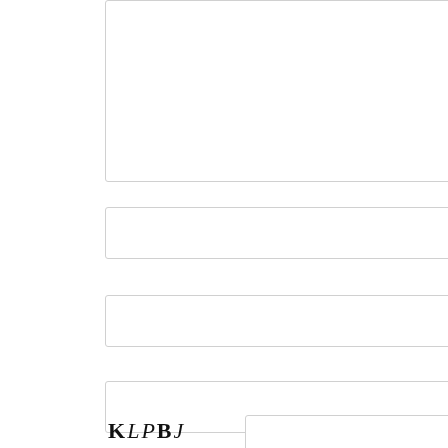[Figure (other): Large empty form textarea/input box at the top of the page, partially cropped]
[Figure (other): Form input field with label 'N' partially visible on the right]
[Figure (other): Form input field with label 'E' partially visible on the right]
[Figure (other): Form input field with label 'W' partially visible on the right]
KLPBJ
[Figure (other): CAPTCHA input field with label 'A' partially visible on the right]